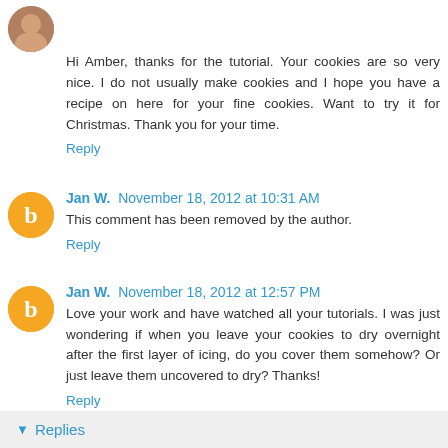Hi Amber, thanks for the tutorial. Your cookies are so very nice. I do not usually make cookies and I hope you have a recipe on here for your fine cookies. Want to try it for Christmas. Thank you for your time.
Reply
Jan W.  November 18, 2012 at 10:31 AM
This comment has been removed by the author.
Reply
Jan W.  November 18, 2012 at 12:57 PM
Love your work and have watched all your tutorials. I was just wondering if when you leave your cookies to dry overnight after the first layer of icing, do you cover them somehow? Or just leave them uncovered to dry? Thanks!
Reply
Replies